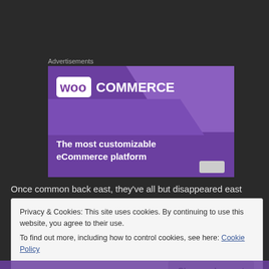Advertisements
[Figure (screenshot): WooCommerce advertisement banner with purple background showing WooCommerce logo and text 'The most customizable eCommerce platform']
Once common back east, they've all but disappeared east
Privacy & Cookies: This site uses cookies. By continuing to use this website, you agree to their use.
To find out more, including how to control cookies, see here: Cookie Policy
Close and accept